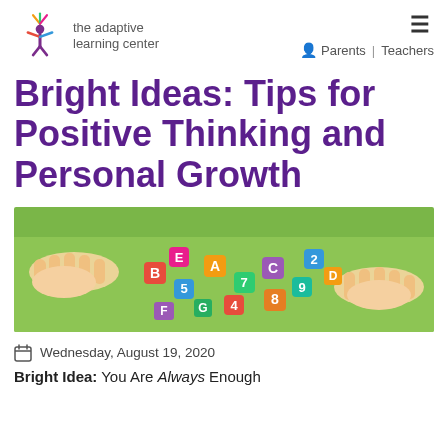the adaptive learning center | Parents | Teachers
Bright Ideas: Tips for Positive Thinking and Personal Growth
[Figure (photo): Children's hands playing with colorful foam/plastic letters on a green table surface.]
Wednesday, August 19, 2020
Bright Idea: You Are Always Enough